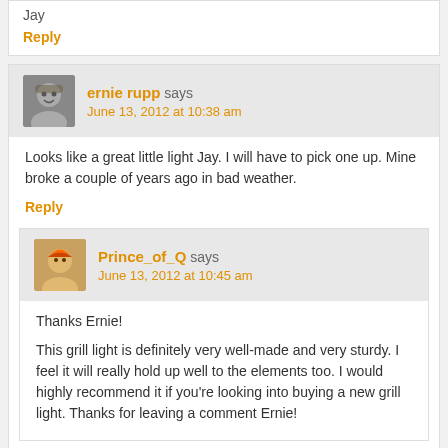Jay
Reply
ernie rupp says
June 13, 2012 at 10:38 am
Looks like a great little light Jay. I will have to pick one up. Mine broke a couple of years ago in bad weather.
Reply
Prince_of_Q says
June 13, 2012 at 10:45 am
Thanks Ernie!
This grill light is definitely very well-made and very sturdy. I feel it will really hold up well to the elements too. I would highly recommend it if you’re looking into buying a new grill light. Thanks for leaving a comment Ernie!